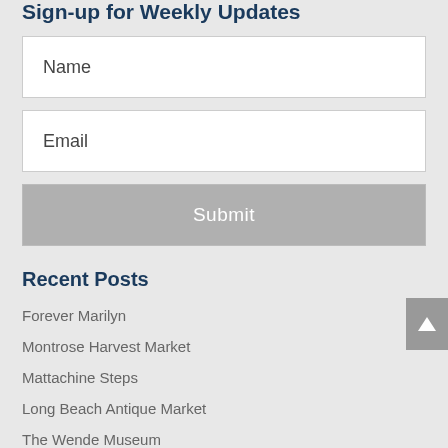Sign-up for Weekly Updates
Name
Email
Submit
Recent Posts
Forever Marilyn
Montrose Harvest Market
Mattachine Steps
Long Beach Antique Market
The Wende Museum